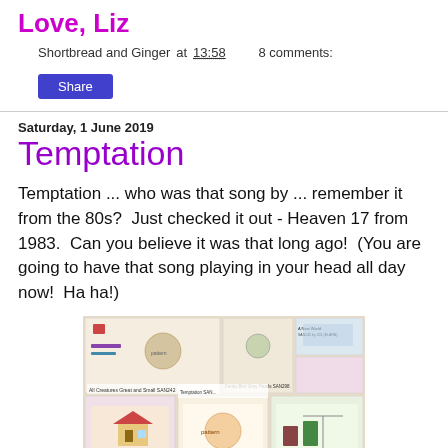Love, Liz
Shortbread and Ginger at 13:58    8 comments:
Share
Saturday, 1 June 2019
Temptation
Temptation ... who was that song by ... remember it from the 80s?  Just checked it out - Heaven 17 from 1983.  Can you believe it was that long ago!  (You are going to have that song playing in your head all day now!  Ha ha!)
[Figure (photo): A collection of cross-stitch pattern booklets/cards spread out on a surface, showing various embroidery designs including scenes with houses, figures, animals, and text labels.]